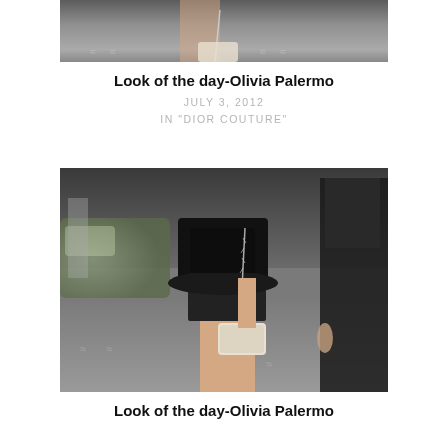[Figure (photo): Partial photo of a woman walking on a street, cropped to show lower body, carrying a chain-strap bag. Street markings visible below.]
Look of the day-Olivia Palermo
JULY 3, 2012
IN "DIOR COUTURE"
[Figure (photo): Street style photo of a woman wearing a black leather peplum top with a dark mini skirt, holding a chain-strap cream bag. A man in a dark suit is visible to the right.]
Look of the day-Olivia Palermo